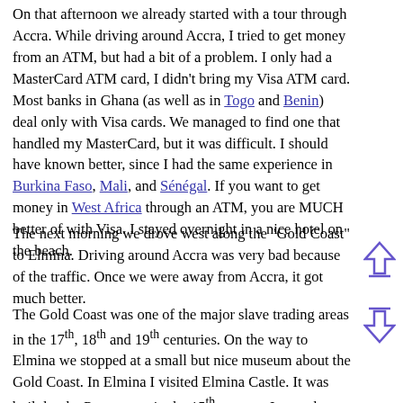On that afternoon we already started with a tour through Accra. While driving around Accra, I tried to get money from an ATM, but had a bit of a problem. I only had a MasterCard ATM card, I didn't bring my Visa ATM card. Most banks in Ghana (as well as in Togo and Benin) deal only with Visa cards. We managed to find one that handled my MasterCard, but it was difficult. I should have known better, since I had the same experience in Burkina Faso, Mali, and Sénégal. If you want to get money in West Africa through an ATM, you are MUCH better of with Visa. I stayed overnight in a nice hotel on the beach.
The next morning we drove west along the "Gold Coast" to Elmina. Driving around Accra was very bad because of the traffic. Once we were away from Accra, it got much better.
The Gold Coast was one of the major slave trading areas in the 17th, 18th and 19th centuries. On the way to Elmina we stopped at a small but nice museum about the Gold Coast. In Elmina I visited Elmina Castle. It was built by the Portuguese in the 15th century. It was the largest and one of the most important forts in Ghana during the slave trade era. The southern parts of West Africa, the Slave Coast (from Nigeria through Benin to Togo), the Gold Coast (in Ghana), and the Ivory Coast (Côte d'Ivoire) were the major slave trading areas during the 17th, 18th, and 19th century. One of the also incidentally about the slave trade areas...